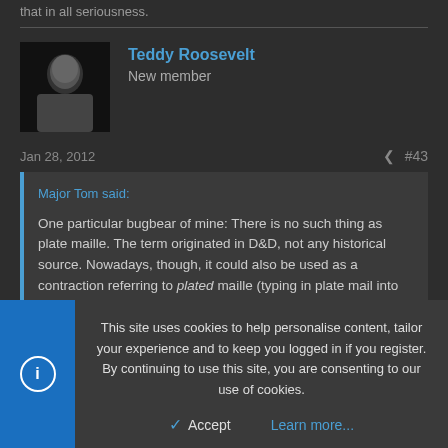that in all seriousness.
Teddy Roosevelt
New member
Jan 28, 2012  #43
Major Tom said:
One particular bugbear of mine: There is no such thing as plate maille. The term originated in D&D, not any historical source. Nowadays, though, it could also be used as a contraction referring to plated maille (typing in plate mail into wikipedia directs you to this) or plate and maille, The first popular in Middle Eastern countries and the latter a
This site uses cookies to help personalise content, tailor your experience and to keep you logged in if you register.
By continuing to use this site, you are consenting to our use of cookies.
Accept  Learn more...